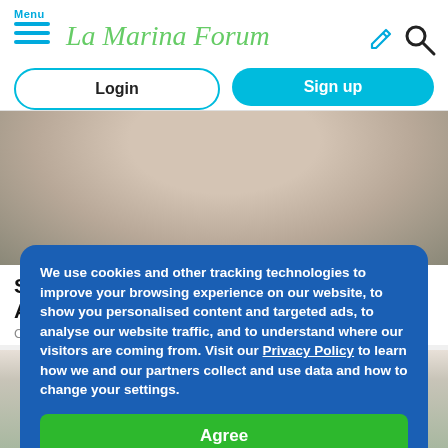Menu | La Marina Forum
Login
Sign up
[Figure (photo): Blurred background photo showing a person, top portion visible]
Spreading ... ves And S... Crowdy M...
We use cookies and other tracking technologies to improve your browsing experience on our website, to show you personalised content and targeted ads, to analyse our website traffic, and to understand where our visitors are coming from. Visit our Privacy Policy to learn how we and our partners collect and use data and how to change your settings.
Agree
[Figure (photo): Portrait photo of a dark-haired woman, partially visible from below]